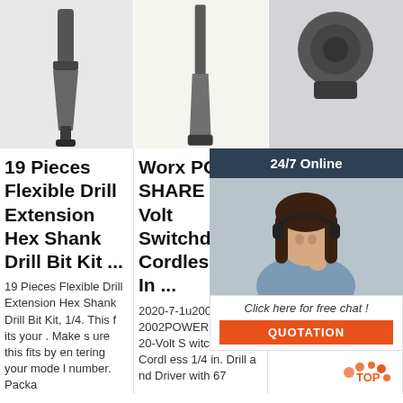[Figure (photo): Hex shank drill bit close-up on grey background]
[Figure (photo): Screwdriver bit on light beige background]
[Figure (photo): Power drill head on grey background]
19 Pieces Flexible Drill Extension Hex Shank Drill Bit Kit ...
Worx POWER SHARE 20-Volt Switchdriver Cordless 1/4 In ...
WO... W... Se... Au... Po... Dri...
19 Pieces Flexible Drill Extension Hex Shank Drill Bit Kit, 1/4. This fits your . Make sure this fits by entering your model number. Packa
2020-7-1u2002·u2002POWER SHARE 20-Volt Switchdriver Cordless 1/4 in. Drill and Driver with 67
The... cce... ard 1/4 hex shank insert bit, so you can use most fasteners you already have. Just
[Figure (photo): 24/7 Online customer service chat widget with female agent wearing headset]